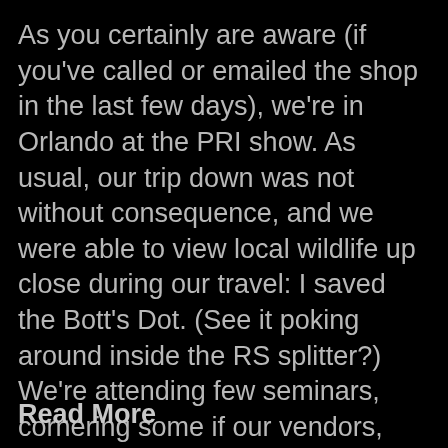As you certainly are aware (if you've called or emailed the shop in the last few days), we're in Orlando at the PRI show. As usual, our trip down was not without consequence, and we were able to view local wildlife up close during our travel: I saved the Bott's Dot. (See it poking around inside the RS splitter?) We're attending few seminars, cornering some if our vendors, exploring new methods of car building, and being available to answer questions about our own products, when needed. Since Racing is in PRI, there is more than a little Porsche content at …
Read More